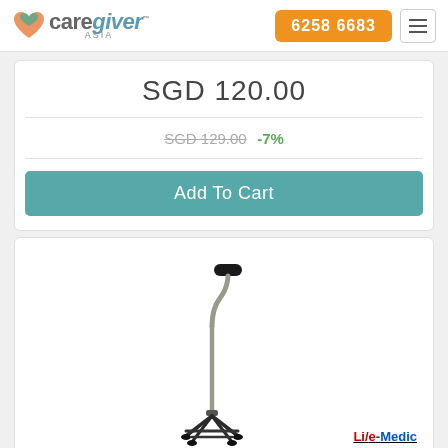caregiver ASIA | 6258 6683
SGD 120.00
SGD 129.00 -7%
Add To Cart
[Figure (photo): A quad cane (walking stick with four-pronged base) with a black handle and metallic silver shaft, standing upright. Li/e-Medic brand logo visible at bottom right.]